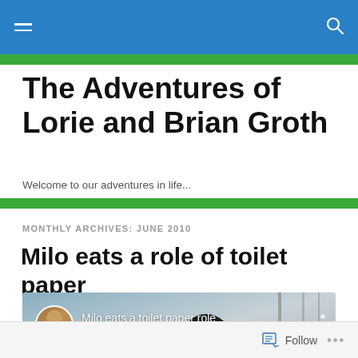The Adventures of Lorie and Brian Groth
Welcome to our adventures in life...
MONTHLY ARCHIVES: JUNE 2010
Milo eats a role of toilet paper
[Figure (screenshot): Video thumbnail showing a black dog with a man's avatar and the text 'Milo eats a toilet paper role']
Follow ...